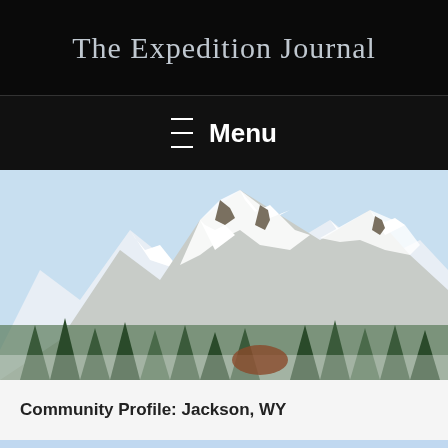The Expedition Journal
☰ Menu
[Figure (photo): Snowy mountain peaks with rocky ridgelines and evergreen trees in the foreground, blue sky background. Winter alpine scene.]
Community Profile: Jackson, WY
[Figure (photo): Snowy mountain peaks with jagged ridgeline, blue sky, partial view of a mountain range — likely the Tetons near Jackson, WY.]